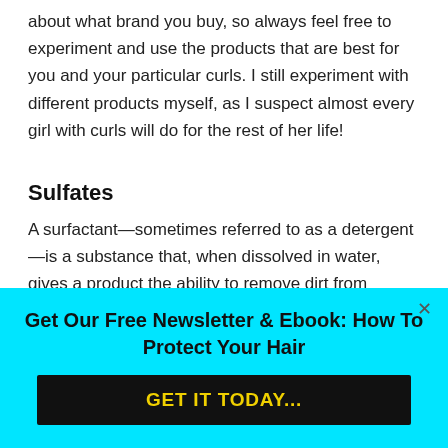about what brand you buy, so always feel free to experiment and use the products that are best for you and your particular curls. I still experiment with different products myself, as I suspect almost every girl with curls will do for the rest of her life!
Sulfates
A surfactant—sometimes referred to as a detergent—is a substance that, when dissolved in water, gives a product the ability to remove dirt from surfaces such as the human skin, textiles, and other solids. There are several different types of surfactants, ranging from harsh to mild, with sulfates belonging
Get Our Free Newsletter & Ebook: How To Protect Your Hair
GET IT TODAY...